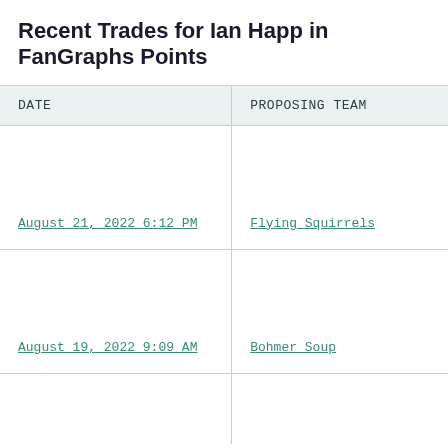Recent Trades for Ian Happ in FanGraphs Points
| DATE | PROPOSING TEAM |
| --- | --- |
| August 21, 2022 6:12 PM | Flying Squirrels |
| August 19, 2022 9:09 AM | Bohmer Soup |
|  |  |